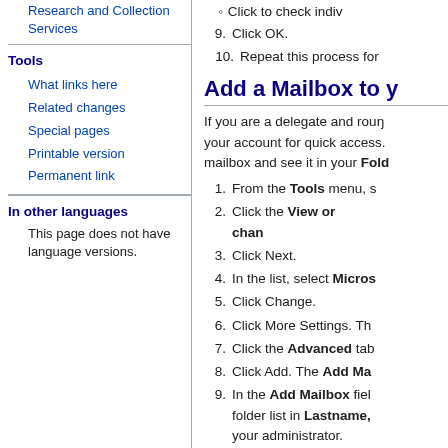Research and Collection Services
Tools
What links here
Related changes
Special pages
Printable version
Permanent link
In other languages
This page does not have language versions.
Click to check indiv
9. Click OK.
10. Repeat this process for
Add a Mailbox to y
If you are a delegate and rouÅ your account for quick access. mailbox and see it in your Fold
1. From the Tools menu, s
2. Click the View or chang
3. Click Next.
4. In the list, select Micros
5. Click Change.
6. Click More Settings. Th
7. Click the Advanced tab
8. Click Add. The Add Ma
9. In the Add Mailbox field, folder list in Lastname, your administrator.